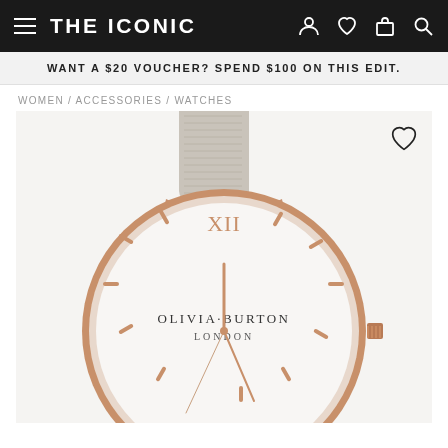THE ICONIC
WANT A $20 VOUCHER? SPEND $100 ON THIS EDIT.
WOMEN / ACCESSORIES / WATCHES
[Figure (photo): Olivia Burton London watch with grey leather strap and rose gold case, showing XII roman numeral and rose gold hour markers on a white dial. Product page from THE ICONIC.]